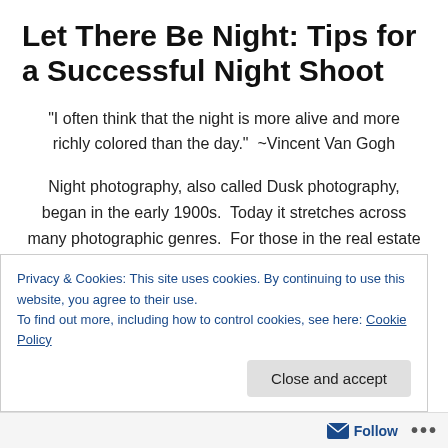Let There Be Night: Tips for a Successful Night Shoot
“I often think that the night is more alive and more richly colored than the day.”  ~Vincent Van Gogh
Night photography, also called Dusk photography, began in the early 1900s.  Today it stretches across many photographic genres.  For those in the real estate and architectural fields it is a great way to differentiate photographs and bring a property to life.
Privacy & Cookies: This site uses cookies. By continuing to use this website, you agree to their use.
To find out more, including how to control cookies, see here: Cookie Policy
Follow ...